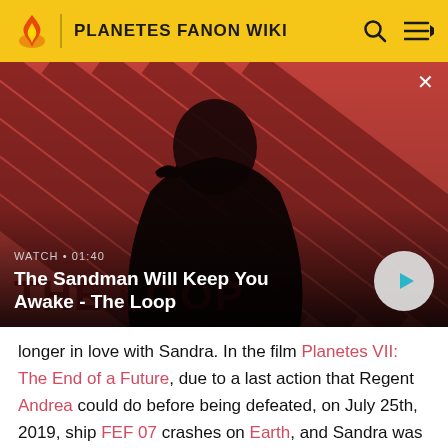PLANETES FANON WIKI
[Figure (screenshot): Video thumbnail showing a dark-robed figure with a raven on shoulder against a red-striped background. The Loop title text visible. Watch duration 01:40 shown. White circular play button on right.]
WATCH • 01:40
The Sandman Will Keep You Awake - The Loop
longer in love with Sandra. In the film Planetes VII: The End of a Future, due to a last action that Regent Andrea could do before being defeated, on July 25th, 2019, ship FEF 07 crashes on Earth, and Sandra was on board. Josep Maria 23 makes a return to the past to undo all the